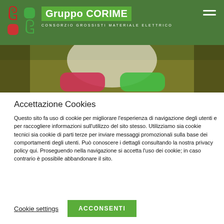[Figure (logo): Gruppo CORIME logo with red and green G letters, green background header with subtitle CONSORZIO GROSSISTI MATERIALE ELETTRICO and hamburger menu icon]
[Figure (photo): Hero image showing blurred colorful rounded shapes (red, green, white) on olive/gold background]
Accettazione Cookies
Questo sito fa uso di cookie per migliorare l’esperienza di navigazione degli utenti e per raccogliere informazioni sull’utilizzo del sito stesso. Utilizziamo sia cookie tecnici sia cookie di parti terze per inviare messaggi promozionali sulla base dei comportamenti degli utenti. Può conoscere i dettagli consultando la nostra privacy policy qui. Proseguendo nella navigazione si accetta l’uso dei cookie; in caso contrario è possibile abbandonare il sito.
Cookie settings
ACCONSENTI